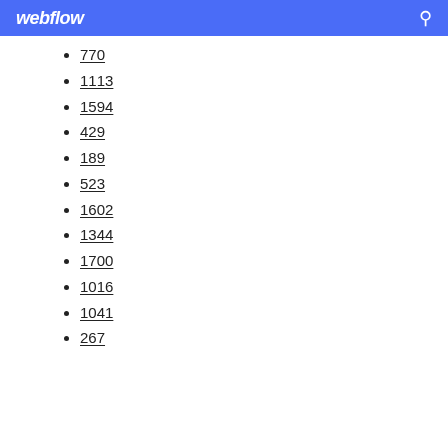webflow
770
1113
1594
429
189
523
1602
1344
1700
1016
1041
267